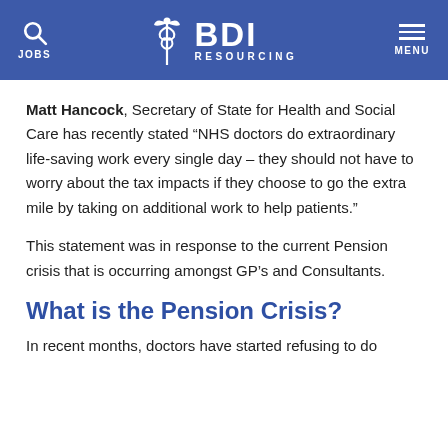BDI RESOURCING
Matt Hancock, Secretary of State for Health and Social Care has recently stated “NHS doctors do extraordinary life-saving work every single day – they should not have to worry about the tax impacts if they choose to go the extra mile by taking on additional work to help patients.”
This statement was in response to the current Pension crisis that is occurring amongst GP’s and Consultants.
What is the Pension Crisis?
In recent months, doctors have started refusing to do